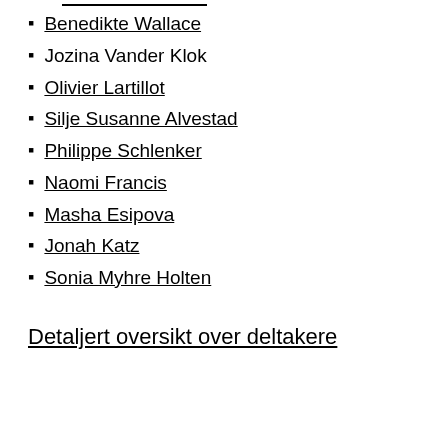Benedikte Wallace
Jozina Vander Klok
Olivier Lartillot
Silje Susanne Alvestad
Philippe Schlenker
Naomi Francis
Masha Esipova
Jonah Katz
Sonia Myhre Holten
Detaljert oversikt over deltakere